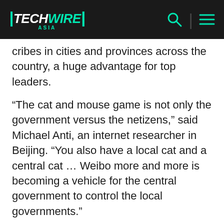TechWire Asia
cribes in cities and provinces across the country, a huge advantage for top leaders.
“The cat and mouse game is not only the government versus the netizens,” said Michael Anti, an internet researcher in Beijing. “You also have a local cat and a central cat … Weibo more and more is becoming a vehicle for the central government to control the local governments.”
Provincial print and broadcast news are routinely censored at the source, while internal government reports are invariably burnished by the cadres preparing them. With Weibo, which is centrally censored by Sina with input from the government,